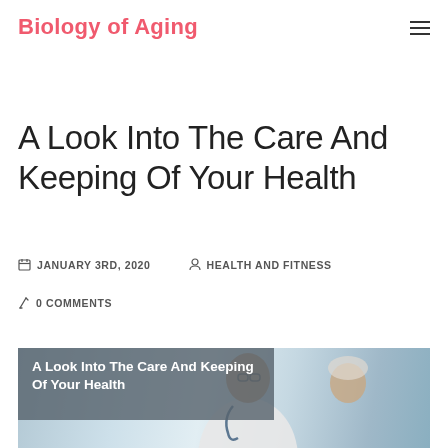Biology of Aging
A Look Into The Care And Keeping Of Your Health
JANUARY 3RD, 2020   HEALTH AND FITNESS
0 COMMENTS
[Figure (photo): A doctor in a white coat with a stethoscope speaking with an elderly patient, with overlay text reading 'A Look Into The Care And Keeping Of Your Health']